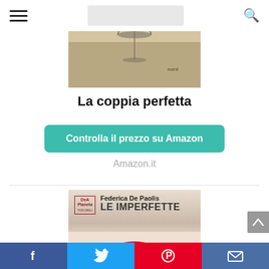Navigation header with hamburger menu, logo placeholder, and search icon
[Figure (photo): Book cover of 'La coppia perfetta' with a glass/crystal object on a sepia background, Nord publisher logo visible]
La coppia perfetta
Controlla il prezzo su Amazon
Amazon.it
[Figure (photo): Book cover of 'Le Imperfette' by Federica De Paolis, DeA Planeta Tascabili, showing a close-up of red lips on a pale background. Text: Vincitore del Premio DeA Planeta 2020]
Social sharing bar: Facebook, Twitter, Pinterest, Email